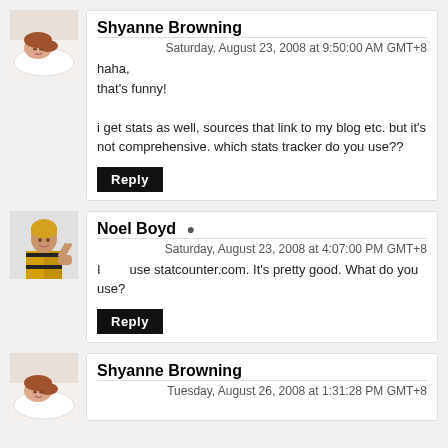[Figure (photo): Avatar of Shyanne Browning - person lying on pillow]
Shyanne Browning
Saturday, August 23, 2008 at 9:50:00 AM GMT+8
haha,
that's funny!

i get stats as well, sources that link to my blog etc. but it's not comprehensive. which stats tracker do you use??
Reply
[Figure (photo): Avatar of Noel Boyd - person in yellow jacket making peace sign]
Noel Boyd
Saturday, August 23, 2008 at 4:07:00 PM GMT+8
I use statcounter.com. It's pretty good. What do you use?
Reply
[Figure (photo): Avatar of Shyanne Browning - person lying on pillow]
Shyanne Browning